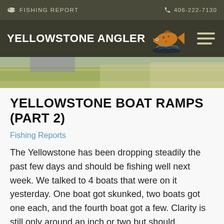FISHING REPORT   406-222-7130
[Figure (logo): Yellowstone Angler logo with brown trout fish graphic and white bold text reading YELLOWSTONE ANGLER]
[Figure (photo): Outdoor landscape photo showing a road or path with green and golden grass fields]
YELLOWSTONE BOAT RAMPS (PART 2)
Fishing Reports
The Yellowstone has been dropping steadily the past few days and should be fishing well next week. We talked to 4 boats that were on it yesterday. One boat got skunked, two boats got one each, and the fourth boat got a few. Clarity is still only around an inch or two but should